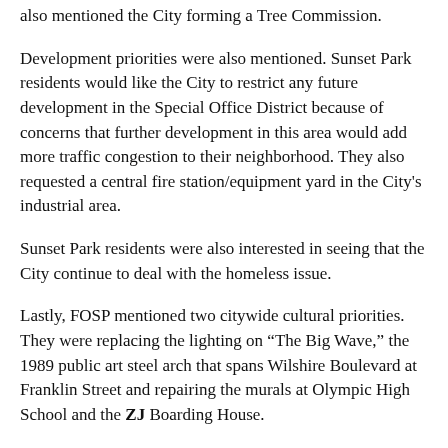also mentioned the City forming a Tree Commission.
Development priorities were also mentioned. Sunset Park residents would like the City to restrict any future development in the Special Office District because of concerns that further development in this area would add more traffic congestion to their neighborhood. They also requested a central fire station/equipment yard in the City's industrial area.
Sunset Park residents were also interested in seeing that the City continue to deal with the homeless issue.
Lastly, FOSP mentioned two citywide cultural priorities. They were replacing the lighting on “The Big Wave,” the 1989 public art steel arch that spans Wilshire Boulevard at Franklin Street and repairing the murals at Olympic High School and the ZJ Boarding House.
Additional neighborhood meetings will be held on November 24 at the Montana Library, and on December